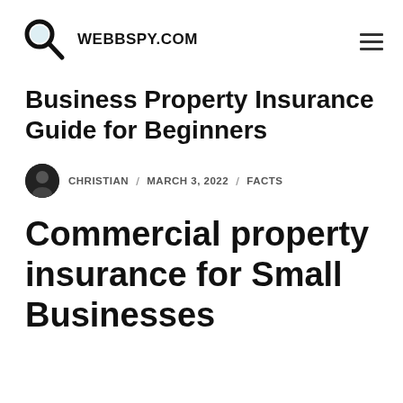WEBBSPY.COM
Business Property Insurance Guide for Beginners
CHRISTIAN / MARCH 3, 2022 / FACTS
Commercial property insurance for Small Businesses